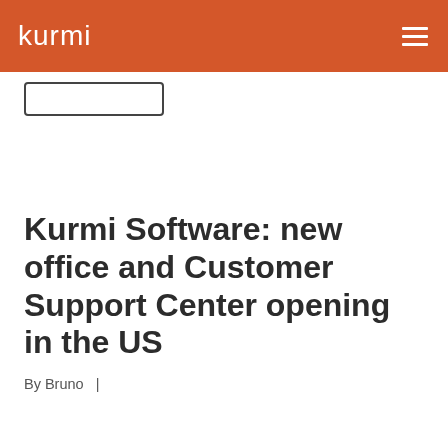kurmi
Kurmi Software: new office and Customer Support Center opening in the US
By Bruno  |